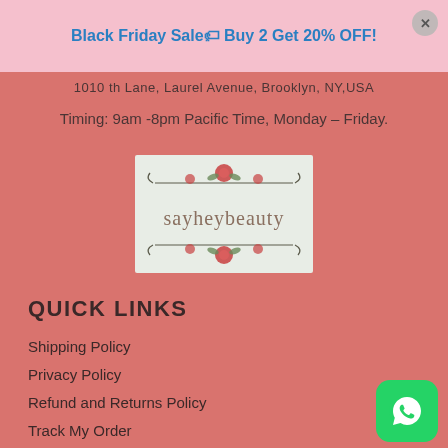Black Friday Sale🏷 Buy 2 Get 20% OFF!
1010 th Lane, Laurel Avenue, Brooklyn, NY,USA
Timing: 9am -8pm Pacific Time, Monday – Friday.
[Figure (logo): sayheybeauty logo with floral decorations on light green/mint background]
QUICK LINKS
Shipping Policy
Privacy Policy
Refund and Returns Policy
Track My Order